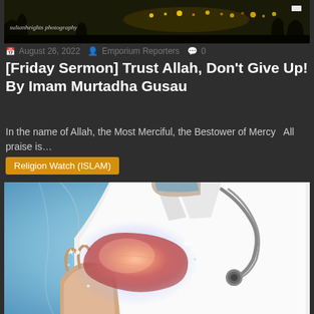[Figure (photo): Night cityscape photo with lights, watermarked 'sultanheights photography']
August 26, 2022  Emporium Reporters  0
[Friday Sermon] Trust Allah, Don't Give Up! By Imam Murtadha Gusau
In the name of Allah, the Most Merciful, the Bestower of Mercy   All praise is…
Religion Watch (ISLAM)
[Figure (photo): Doctor in white coat with stethoscope holding a glowing holographic liver illustration]